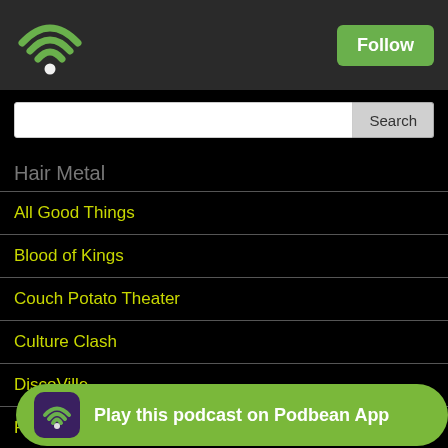[Figure (screenshot): Podbean app header with green WiFi/podcast icon on left and green Follow button on right]
[Figure (screenshot): Search input field with Search button]
Hair Metal
All Good Things
Blood of Kings
Couch Potato Theater
Culture Clash
DiscoVille
FPNet Classic
Galaxy Class
Good Evening: An Alfred Hitchcock Podcast
Hair Metal
Play this podcast on Podbean App